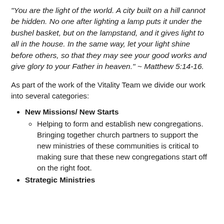"You are the light of the world. A city built on a hill cannot be hidden. No one after lighting a lamp puts it under the bushel basket, but on the lampstand, and it gives light to all in the house. In the same way, let your light shine before others, so that they may see your good works and give glory to your Father in heaven." ~ Matthew 5:14-16.
As part of the work of the Vitality Team we divide our work into several categories:
New Missions/ New Starts
Helping to form and establish new congregations. Bringing together church partners to support the new ministries of these communities is critical to making sure that these new congregations start off on the right foot.
Strategic Ministries